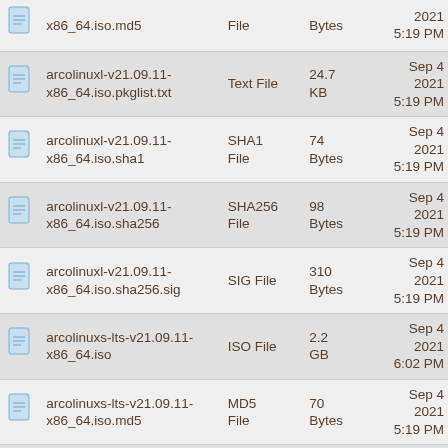|  | Name | Type | Size | Date |
| --- | --- | --- | --- | --- |
|  | x86_64.iso.md5 | File | Bytes | 2021 5:19 PM |
|  | arcolinuxl-v21.09.11-x86_64.iso.pkglist.txt | Text File | 24.7 KB | Sep 4 2021 5:19 PM |
|  | arcolinuxl-v21.09.11-x86_64.iso.sha1 | SHA1 File | 74 Bytes | Sep 4 2021 5:19 PM |
|  | arcolinuxl-v21.09.11-x86_64.iso.sha256 | SHA256 File | 98 Bytes | Sep 4 2021 5:19 PM |
|  | arcolinuxl-v21.09.11-x86_64.iso.sha256.sig | SIG File | 310 Bytes | Sep 4 2021 5:19 PM |
|  | arcolinuxs-lts-v21.09.11-x86_64.iso | ISO File | 2.2 GB | Sep 4 2021 6:02 PM |
|  | arcolinuxs-lts-v21.09.11-x86_64.iso.md5 | MD5 File | 70 Bytes | Sep 4 2021 5:19 PM |
|  | arcolinuxs-lts-v21.09.11-x86_64.iso.pkglist.txt | Text File | 21.4 KB | Sep 4 2021 5:19 PM |
|  | arcolinuxs-lts- |  |  | Sep 4 |